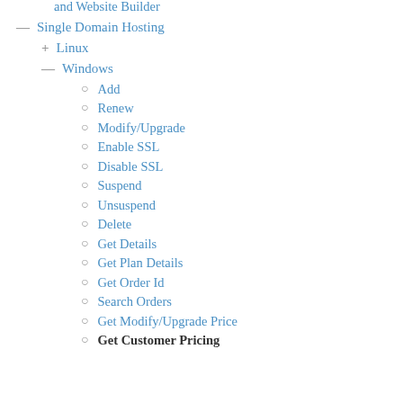and Website Builder
Single Domain Hosting
Linux
Windows
Add
Renew
Modify/Upgrade
Enable SSL
Disable SSL
Suspend
Unsuspend
Delete
Get Details
Get Plan Details
Get Order Id
Search Orders
Get Modify/Upgrade Price
Get Customer Pricing